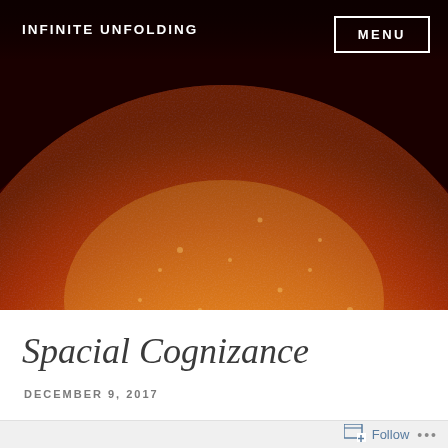INFINITE UNFOLDING
[Figure (photo): Close-up photograph of the Sun showing orange and red solar surface with granulation texture against a dark reddish background. The sun occupies most of the frame showing its spherical shape from below.]
Spacial Cognizance
DECEMBER 9, 2017
Follow ...